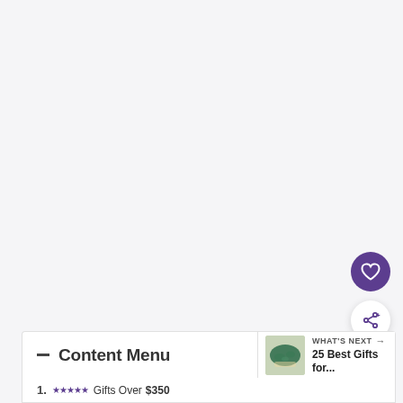[Figure (screenshot): Large light gray empty area representing the top portion of a webpage]
[Figure (other): Circular purple heart/favorite button (FAB)]
[Figure (other): Circular white share button (FAB) with share/add icon]
— Content Menu
[Figure (other): WHAT'S NEXT thumbnail showing a map of the USA made of green plants/leaves, with text: WHAT'S NEXT → 25 Best Gifts for...]
1. ★★★★★ Gifts Over $350